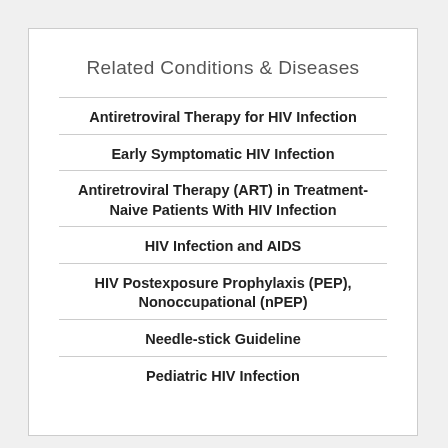Related Conditions & Diseases
Antiretroviral Therapy for HIV Infection
Early Symptomatic HIV Infection
Antiretroviral Therapy (ART) in Treatment-Naive Patients With HIV Infection
HIV Infection and AIDS
HIV Postexposure Prophylaxis (PEP), Nonoccupational (nPEP)
Needle-stick Guideline
Pediatric HIV Infection